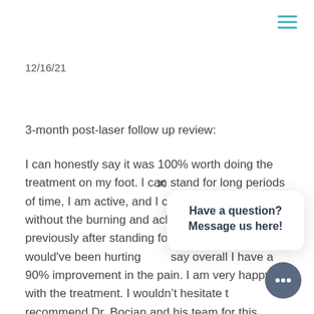≡
12/16/21
3-month post-laser follow up review:
I can honestly say it was 100% worth doing the treatment on my foot. I can stand for long periods of time, I am active, and I can get through a day without the burning and aching like it used to be. I previously after standing for more that an hour my foot would've been hurting bad. I would say overall I have a 90% improvement in the pain. I am very happy with the treatment. I wouldn't hesitate to recommend Dr. Bocian and his team for this treatment is truly life-changing.
Have a question? Message us here!